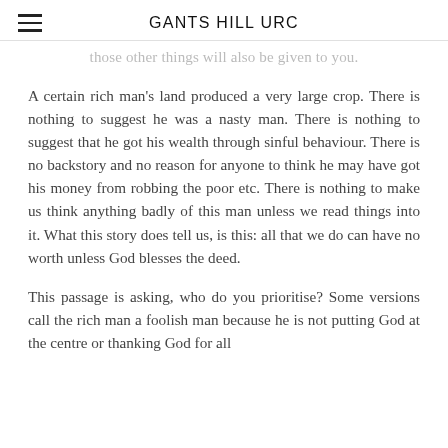GANTS HILL URC
those other things will also be given to you.
A certain rich man's land produced a very large crop. There is nothing to suggest he was a nasty man. There is nothing to suggest that he got his wealth through sinful behaviour. There is no backstory and no reason for anyone to think he may have got his money from robbing the poor etc. There is nothing to make us think anything badly of this man unless we read things into it. What this story does tell us, is this: all that we do can have no worth unless God blesses the deed.
This passage is asking, who do you prioritise? Some versions call the rich man a foolish man because he is not putting God at the centre or thanking God for all